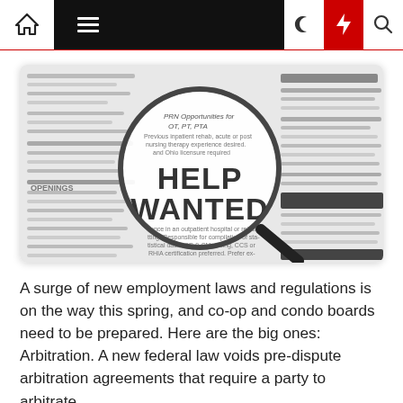Navigation bar with home, menu, dark mode, lightning, and search icons
[Figure (photo): Black and white photo of a newspaper classified ads page with a magnifying glass highlighting the words HELP WANTED in bold, with blurred job listing text surrounding the magnified area.]
A surge of new employment laws and regulations is on the way this spring, and co-op and condo boards need to be prepared. Here are the big ones: Arbitration. A new federal law voids pre-dispute arbitration agreements that require a party to arbitrate...